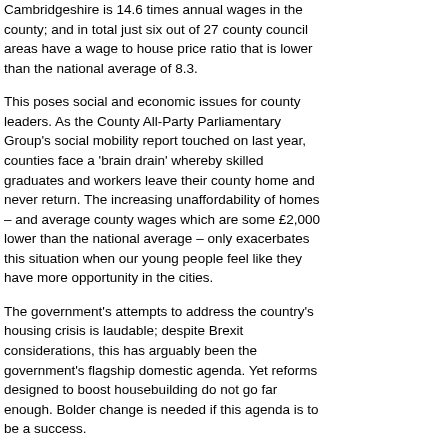Cambridgeshire is 14.6 times annual wages in the county; and in total just six out of 27 county council areas have a wage to house price ratio that is lower than the national average of 8.3.
This poses social and economic issues for county leaders. As the County All-Party Parliamentary Group's social mobility report touched on last year, counties face a 'brain drain' whereby skilled graduates and workers leave their county home and never return. The increasing unaffordability of homes – and average county wages which are some £2,000 lower than the national average – only exacerbates this situation when our young people feel like they have more opportunity in the cities.
The government's attempts to address the country's housing crisis is laudable; despite Brexit considerations, this has arguably been the government's flagship domestic agenda. Yet reforms designed to boost housebuilding do not go far enough. Bolder change is needed if this agenda is to be a success.
The planning system in two-tier areas is fragmented; a closer alignment of the system is needed. CCN has long called for a re-introduction of planning on a strategic scale, with counties working in close collaboration with their district councils, bringing in a closer alignment of